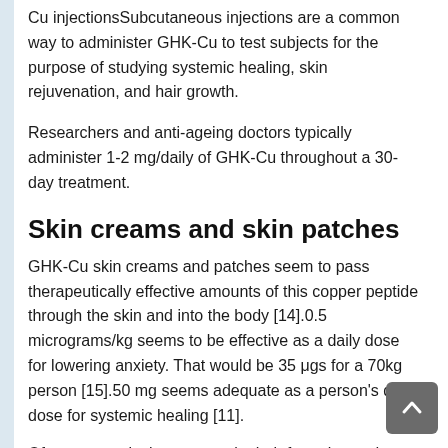Cu injectionsSubcutaneous injections are a common way to administer GHK-Cu to test subjects for the purpose of studying systemic healing, skin rejuvenation, and hair growth.
Researchers and anti-ageing doctors typically administer 1-2 mg/daily of GHK-Cu throughout a 30-day treatment.
Skin creams and skin patches
GHK-Cu skin creams and patches seem to pass therapeutically effective amounts of this copper peptide through the skin and into the body [14].0.5 micrograms/kg seems to be effective as a daily dose for lowering anxiety. That would be 35 μgs for a 70kg person [15].50 mg seems adequate as a person's daily dose for systemic healing [11].
Of course, topicals may vary in their formulas and exact GHK-Cu content, so it is always prudent to read the